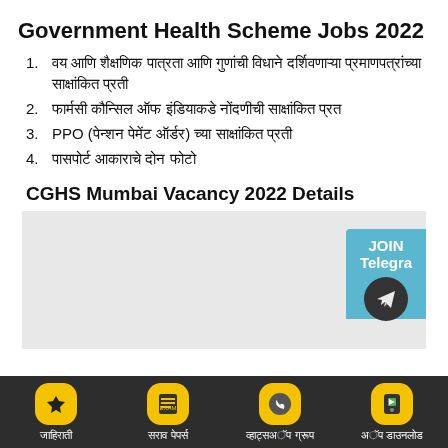Government Health Scheme Jobs 2022
वय आणि शैक्षणिक पात्रता आणि गुणांची विधाने दर्शिवणाऱ्या प्रमाणपत्रांच्या साक्षांकित प्रती
फार्मसी कौन्सिल ऑफ इंडियाकडे नोंदणीची साक्षांकित प्रत
PPO (पेन्शन पेमेंट ऑर्डर) च्या साक्षांकित प्रती
पासपोर्ट आकाराचे दोन फोटो
CGHS Mumbai Vacancy 2022 Details
[Figure (screenshot): Gray placeholder box for vacancy details table with Telegram join button overlay]
जाहिराती | सराव पेपर्स | व्हाट्सअॅप ग्रूप | अॅप डाउनलोड